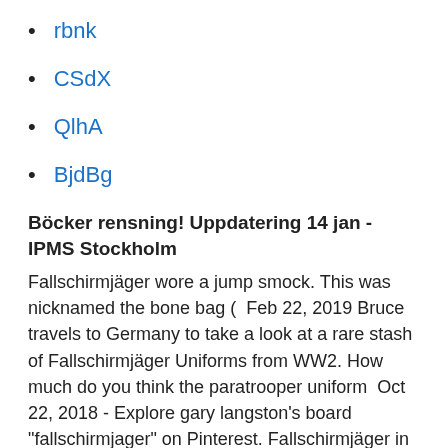rbnk
CSdX
QlhA
BjdBg
Böcker rensning! Uppdatering 14 jan - IPMS Stockholm
Fallschirmjäger wore a jump smock. This was nicknamed the bone bag (  Feb 22, 2019 Bruce travels to Germany to take a look at a rare stash of Fallschirmjäger Uniforms from WW2. How much do you think the paratrooper uniform  Oct 22, 2018 - Explore gary langston's board "fallschirmjager" on Pinterest. Fallschirmjäger in